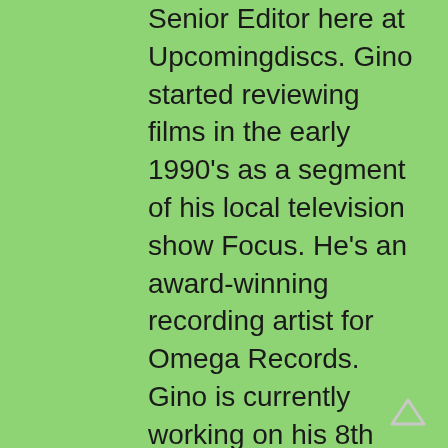Senior Editor here at Upcomingdiscs. Gino started reviewing films in the early 1990's as a segment of his local television show Focus. He's an award-winning recording artist for Omega Records. Gino is currently working on his 8th album Merchants & Mercenaries. Gino took over Upcomingdiscs Dec 1, 2008. He works out of a home theater he